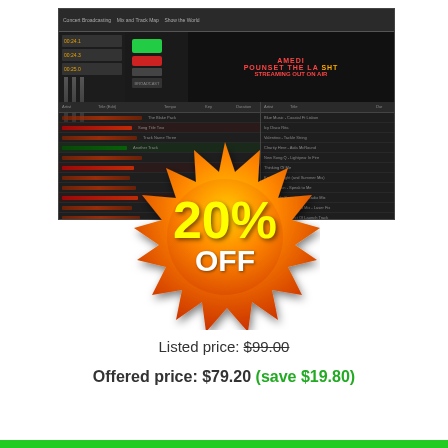[Figure (screenshot): DJ software application screenshot showing mixer controls, green and red buttons, playlist view, and waveform display on dark background. A 20% OFF starburst badge overlays the lower portion of the screenshot.]
Listed price: $99.00
Offered price: $79.20 (save $19.80)